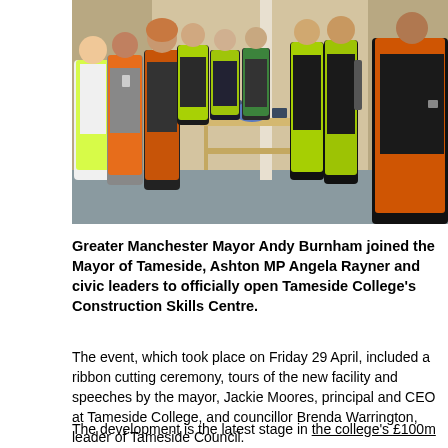[Figure (photo): Group of young people wearing high-visibility vests (yellow and orange) standing in a workshop/construction training area with plywood walls, a wooden workbench and tools. They are posing for a group photo.]
Greater Manchester Mayor Andy Burnham joined the Mayor of Tameside, Ashton MP Angela Rayner and civic leaders to officially open Tameside College's Construction Skills Centre.
The event, which took place on Friday 29 April, included a ribbon cutting ceremony, tours of the new facility and speeches by the mayor, Jackie Moores, principal and CEO at Tameside College, and councillor Brenda Warrington, leader of Tameside Council.
The development is the latest stage in the college's £100m